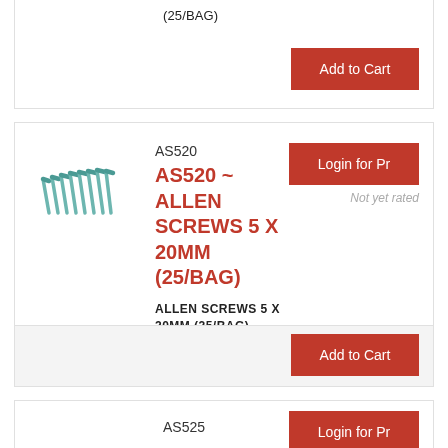(25/BAG)
Add to Cart
AS520
Login for Pr
Not yet rated
AS520 ~ ALLEN SCREWS 5 X 20MM (25/BAG)
ALLEN SCREWS 5 X 20MM (25/BAG)
Add to Cart
AS525
Login for Pr